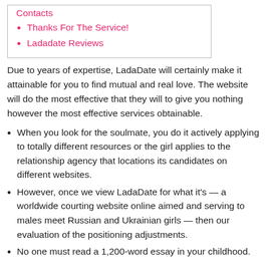Contacts
Thanks For The Service!
Ladadate Reviews
Due to years of expertise, LadaDate will certainly make it attainable for you to find mutual and real love. The website will do the most effective that they will to give you nothing however the most effective services obtainable.
When you look for the soulmate, you do it actively applying to totally different resources or the girl applies to the relationship agency that locations its candidates on different websites.
However, once we view LadaDate for what it's — a worldwide courting website online aimed and serving to males meet Russian and Ukrainian girls — then our evaluation of the positioning adjustments.
No one must read a 1,200-word essay in your childhood.